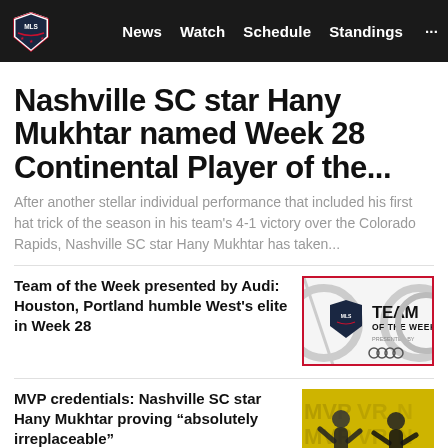MLS | News | Watch | Schedule | Standings
Nashville SC star Hany Mukhtar named Week 28 Continental Player of the...
After another stellar individual performance that included his first hat trick of the season in his team's 4-1 victory over the Colorado Rapids, Nashville SC star Hany Mukhtar has taken...
Team of the Week presented by Audi: Houston, Portland humble West's elite in Week 28
[Figure (illustration): MLS Team of the Week presented by Audi graphic with MLS logo and Audi logo on white background with red border]
MVP credentials: Nashville SC star Hany Mukhtar proving “absolutely irreplaceable”
[Figure (photo): Nashville SC players in yellow kits celebrating on a yellow background with MVP text]